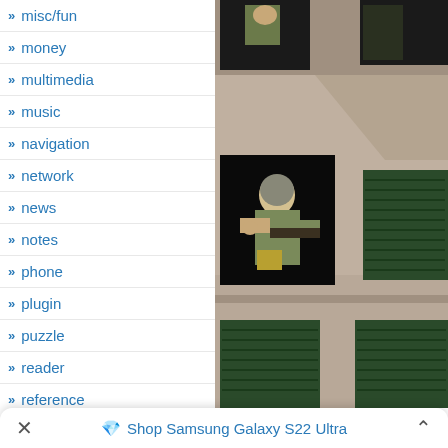misc/fun
money
multimedia
music
navigation
network
news
notes
phone
plugin
puzzle
reader
reference
science
screen
security
shopping
[Figure (screenshot): Screenshot of a video game showing a soldier character with a weapon standing in a window of a European-style building facade with shuttered windows.]
Shop Samsung Galaxy S22 Ultra